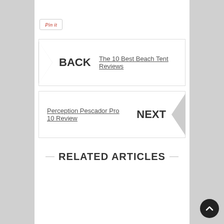[Figure (other): Pin it button - Pinterest share button with red italic text]
BACK   The 10 Best Beach Tent Reviews
Perception Pescador Pro 10 Review   NEXT
RELATED ARTICLES